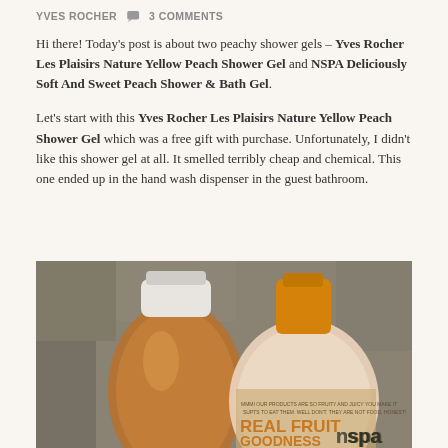YVES ROCHER  💬 3 COMMENTS
Hi there! Today's post is about two peachy shower gels – Yves Rocher Les Plaisirs Nature Yellow Peach Shower Gel and NSPA Deliciously Soft And Sweet Peach Shower & Bath Gel.
Let's start with this Yves Rocher Les Plaisirs Nature Yellow Peach Shower Gel which was a free gift with purchase. Unfortunately, I didn't like this shower gel at all. It smelled terribly cheap and chemical. This one ended up in the hand wash dispenser in the guest bathroom.
[Figure (photo): Photo of two shower gel bottles side by side: a translucent amber bottle with white cap (Yves Rocher) on the left, and a cream/peach colored bottle with orange cap labeled REAL FRUIT GOODNESS nspa on the right, set against a patterned fabric background.]